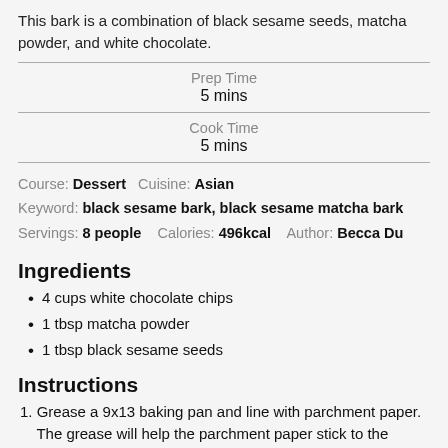This bark is a combination of black sesame seeds, matcha powder, and white chocolate.
Prep Time
5 mins
Cook Time
5 mins
Course: Dessert   Cuisine: Asian
Keyword: black sesame bark, black sesame matcha bark
Servings: 8 people   Calories: 496kcal   Author: Becca Du
Ingredients
4 cups white chocolate chips
1 tbsp matcha powder
1 tbsp black sesame seeds
Instructions
1. Grease a 9x13 baking pan and line with parchment paper. The grease will help the parchment paper stick to the baking pan and make it easier to take out once the chocolate sets.